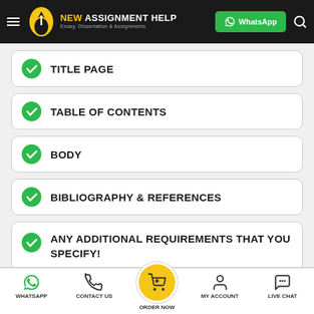NEW ASSIGNMENT HELP — Essay, Dissertation & Assignments | WhatsApp
TITLE PAGE
TABLE OF CONTENTS
BODY
BIBLIOGRAPHY & REFERENCES
ANY ADDITIONAL REQUIREMENTS THAT YOU SPECIFY!
WHATSAPP | CONTACT US | ORDER NOW | MY ACCOUNT | LIVE CHAT